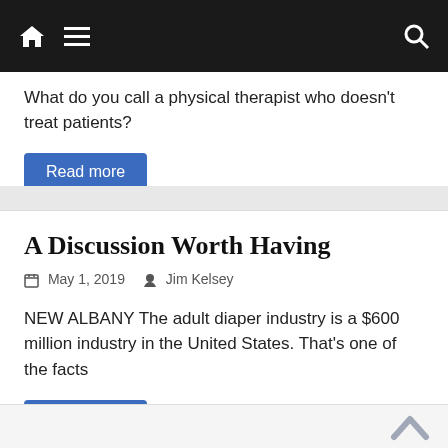Navigation bar with home, menu, and search icons
What do you call a physical therapist who doesn't treat patients?
Read more
A Discussion Worth Having
May 1, 2019  Jim Kelsey
NEW ALBANY The adult diaper industry is a $600 million industry in the United States. That's one of the facts
Read more